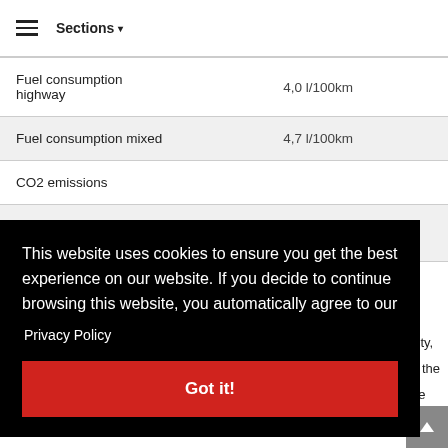≡  Sections ▾
|  |  |
| --- | --- |
| Fuel consumption highway | 4,0 l/100km |
| Fuel consumption mixed | 4,7 l/100km |
| CO2 emissions |  |
city, n the be
Dimensions & Weights
This website uses cookies to ensure you get the best experience on our website. If you decide to continue browsing this website, you automatically agree to our Privacy Policy Got it!